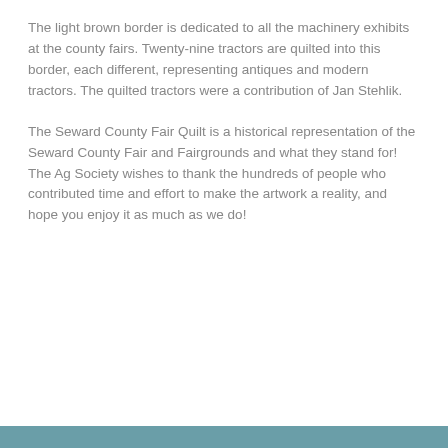The light brown border is dedicated to all the machinery exhibits at the county fairs. Twenty-nine tractors are quilted into this border, each different, representing antiques and modern tractors. The quilted tractors were a contribution of Jan Stehlik.
The Seward County Fair Quilt is a historical representation of the Seward County Fair and Fairgrounds and what they stand for! The Ag Society wishes to thank the hundreds of people who contributed time and effort to make the artwork a reality, and hope you enjoy it as much as we do!